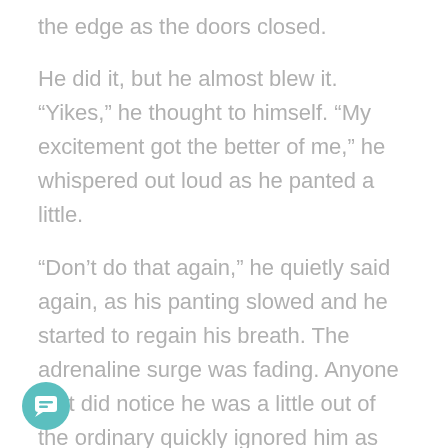the edge as the doors closed.
He did it, but he almost blew it. “Yikes,” he thought to himself. “My excitement got the better of me,” he whispered out loud as he panted a little.
“Don’t do that again,” he quietly said again, as his panting slowed and he started to regain his breath. The adrenaline surge was fading. Anyone that did notice he was a little out of the ordinary quickly ignored him as they went back to the entertainment gossip columns and crosswords.